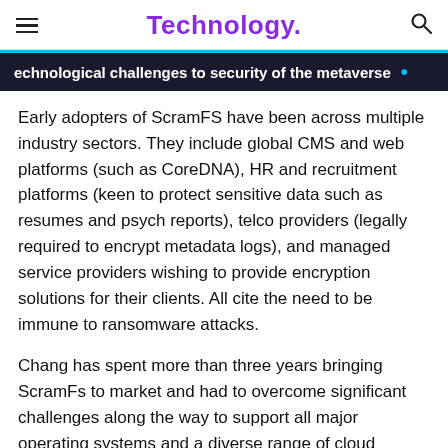Technology.
echnological challenges to security of the metaverse
Early adopters of ScramFS have been across multiple industry sectors. They include global CMS and web platforms (such as CoreDNA), HR and recruitment platforms (keen to protect sensitive data such as resumes and psych reports), telco providers (legally required to encrypt metadata logs), and managed service providers wishing to provide encryption solutions for their clients. All cite the need to be immune to ransomware attacks.
Chang has spent more than three years bringing ScramFs to market and had to overcome significant challenges along the way to support all major operating systems and a diverse range of cloud storage providers by designing customisable interfaces for each. “Encryption has a reputation for being difficult,